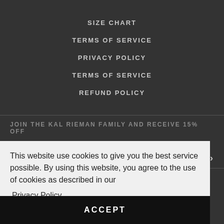SIZE CHART
TERMS OF SERVICE
PRIVACY POLICY
TERMS OF SERVICE
REFUND POLICY
JOIN THE KAL RIEMAN FAMILY AND RECEIVE 15% OFF
This website use cookies to give you the best service possible. By using this website, you agree to the use of cookies as described in our Privacy Policy
ACCEPT